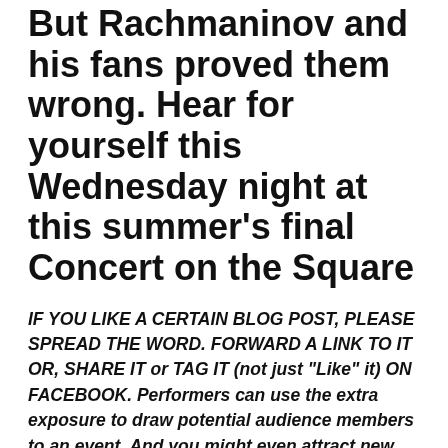But Rachmaninov and his fans proved them wrong. Hear for yourself this Wednesday night at this summer's final Concert on the Square
IF YOU LIKE A CERTAIN BLOG POST, PLEASE SPREAD THE WORD. FORWARD A LINK TO IT OR, SHARE IT or TAG IT (not just “Like” it) ON FACEBOOK. Performers can use the extra exposure to draw potential audience members to an event. And you might even attract new readers and subscribers to the blog.
By Jacob Stockinger
The experts sure got it wrong.